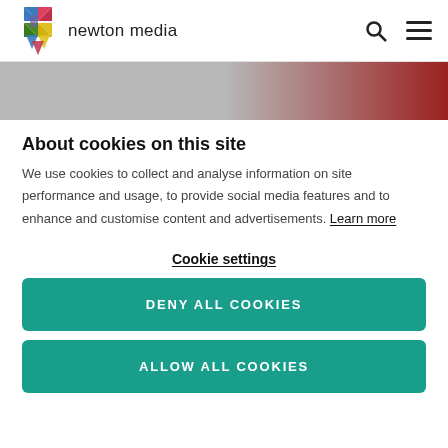[Figure (logo): Newton Media logo: colorful star/pinwheel shape with blue, red, green, yellow segments, next to text 'newton media']
newton media
[Figure (photo): Partial hero image strip showing grey background on left and red/maroon curtain or fabric on the right side]
About cookies on this site
We use cookies to collect and analyse information on site performance and usage, to provide social media features and to enhance and customise content and advertisements. Learn more
Cookie settings
DENY ALL COOKIES
ALLOW ALL COOKIES